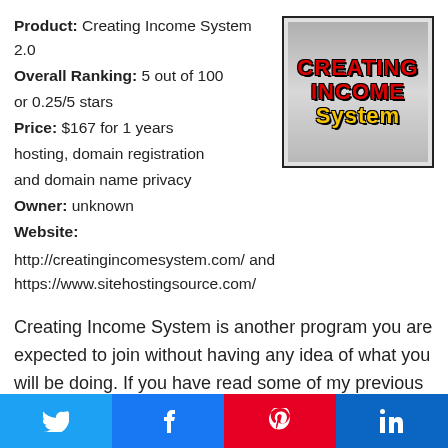Product: Creating Income System 2.0
Overall Ranking: 5 out of 100 or 0.25/5 stars
Price: $167 for 1 years hosting, domain registration and domain name privacy
Owner: unknown
Website:
http://creatingincomesystem.com/ and https://www.sitehostingsource.com/
[Figure (logo): Creating Income System logo with red bold text 'CREATING INCOME' and yellow bold text 'System' on a grey gradient background with black border]
Creating Income System is another program you are expected to join without having any idea of what you will be doing. If you have read some of my previous reviews, you will know that a program that doesn't
Twitter | Facebook | Pinterest | LinkedIn share buttons